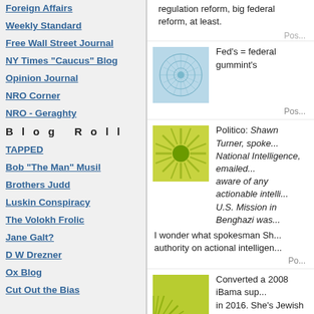Foreign Affairs
Weekly Standard
Free Wall Street Journal
NY Times "Caucus" Blog
Opinion Journal
NRO Corner
NRO - Geraghty
B l o g   R o l l
TAPPED
Bob "The Man" Musil
Brothers Judd
Luskin Conspiracy
The Volokh Frolic
Jane Galt?
D W Drezner
Ox Blog
Cut Out the Bias
regulation reform, big federal reform, at least.
Fed's = federal gummint's
Politico: Shawn Turner, spokesperson for the Office of National Intelligence, emailed ... were not aware of any actionable intelligence indicating that U.S. Mission in Benghazi was...
I wonder what spokesman Sh... authority on actional intelligence...
Converted a 2008 iBama sup... in 2016. She's Jewish and pis...
Posted by: M